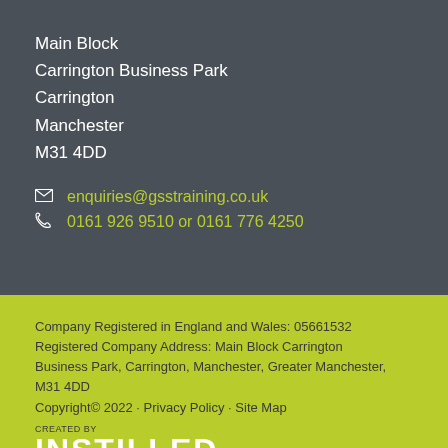Main Block
Carrington Business Park
Carrington
Manchester
M31 4DD
enquiries@gsstraining.co.uk
0161 926 9510 or 0161 776 4250
Company Registered in England and Wales: 05661532
Registered Company Address: Main Block Carrington Business Park, Carrington, Manchester, Greater Manchester, M31 4DD
Copyright© 2022 · Privacy Policy · Site Map
CREATED BY
INSTILLED